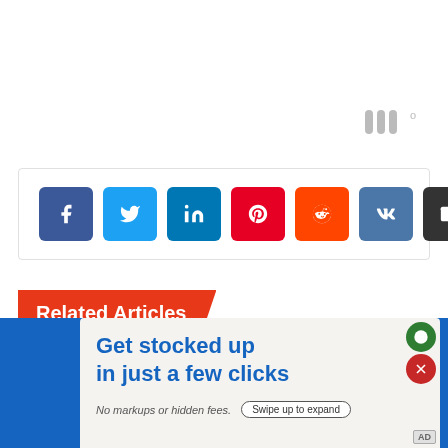[Figure (logo): Tailwind logo mark — three vertical bars with a superscript degree symbol, in gray]
[Figure (infographic): Social share buttons row: Facebook (blue), Twitter (light blue), LinkedIn (dark blue), Pinterest (red), Reddit (orange-red), VK (steel blue), Email (dark gray)]
Related Articles
[Figure (infographic): Advertisement banner: 'Get stocked up in just a few clicks. No markups or hidden fees.' with 'Swipe up to expand' CTA button. Blue background with light-colored content card. Overlay close and profile buttons top-right.]